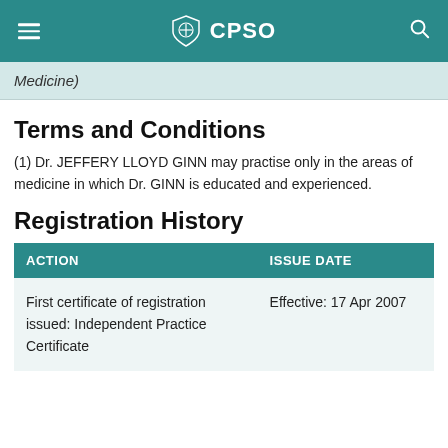CPSO
Medicine)
Terms and Conditions
(1) Dr. JEFFERY LLOYD GINN may practise only in the areas of medicine in which Dr. GINN is educated and experienced.
Registration History
| ACTION | ISSUE DATE |
| --- | --- |
| First certificate of registration issued: Independent Practice Certificate | Effective: 17 Apr 2007 |